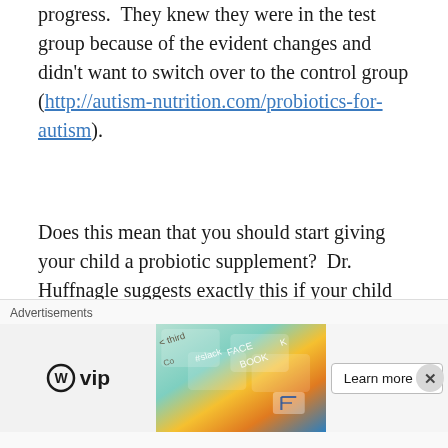progress.  They knew they were in the test group because of the evident changes and didn't want to switch over to the control group (http://autism-nutrition.com/probiotics-for-autism).
Does this mean that you should start giving your child a probiotic supplement?  Dr. Huffnagle suggests exactly this if your child is currently experiencing illness or allergies.  The most important thing, however, is diet.  You can take probiotics every day and sabotage the progress by ingesting the wrong foods.  Therefore, I suggest a diet rich in fermented foods, like sauerkraut, kefir (my kids love this), and aged cheeses, as well as fibrous vegetables, fruit, and
[Figure (screenshot): Advertisement banner: WordPress VIP ad with 'Learn more →' button and colorful background with tech brand names (slack, FACEBOOK)]